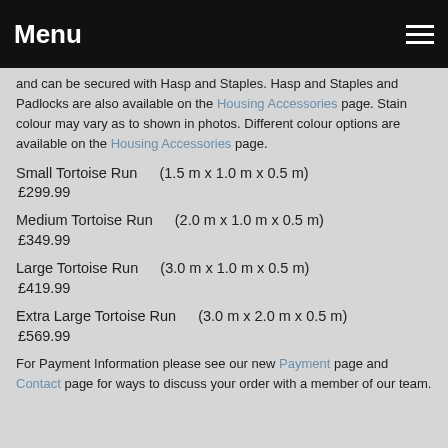Menu
and can be secured with Hasp and Staples. Hasp and Staples and Padlocks are also available on the Housing Accessories page. Stain colour may vary as to shown in photos. Different colour options are available on the Housing Accessories page.
Small Tortoise Run (1.5 m x 1.0 m x 0.5 m) £299.99
Medium Tortoise Run (2.0 m x 1.0 m x 0.5 m) £349.99
Large Tortoise Run (3.0 m x 1.0 m x 0.5 m) £419.99
Extra Large Tortoise Run (3.0 m x 2.0 m x 0.5 m) £569.99
For Payment Information please see our new Payment page and Contact page for ways to discuss your order with a member of our team.